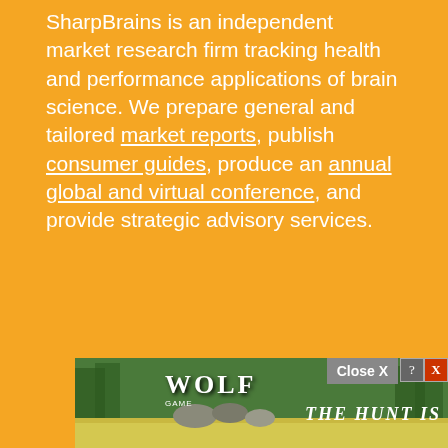SharpBrains is an independent market research firm tracking health and performance applications of brain science. We prepare general and tailored market reports, publish consumer guides, produce an annual global and virtual conference, and provide strategic advisory services.
[Figure (screenshot): Advertisement banner at bottom of page showing 'Wolf Game' with wolves in a nature scene and text 'THE HUNT IS ON!' with a Close X button and ad controls (question mark and X icons)]